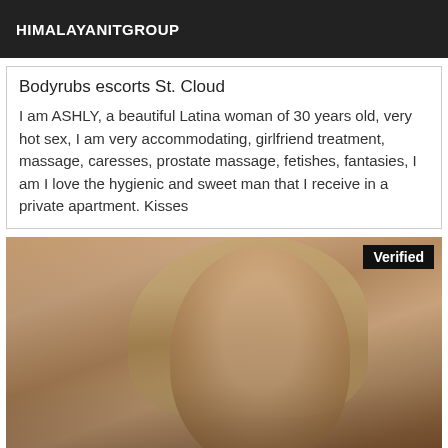HIMALAYANITGROUP
Bodyrubs escorts St. Cloud
I am ASHLY, a beautiful Latina woman of 30 years old, very hot sex, I am very accommodating, girlfriend treatment, massage, caresses, prostate massage, fetishes, fantasies, I am I love the hygienic and sweet man that I receive in a private apartment. Kisses
[Figure (photo): Close-up photo of a blonde woman looking downward, with a 'Verified' badge in the top-right corner]